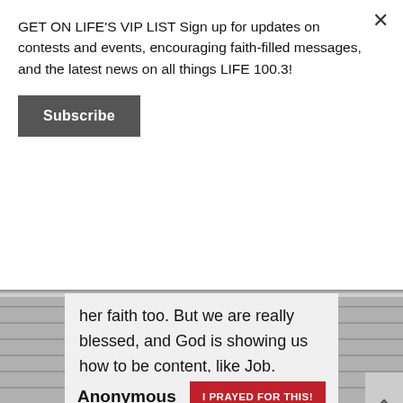GET ON LIFE'S VIP LIST Sign up for updates on contests and events, encouraging faith-filled messages, and the latest news on all things LIFE 100.3!
Subscribe
her faith too. But we are really blessed, and God is showing us how to be content, like Job. Please pray, and I hope your faith is strengthened as well. God bless you and God bless Life 100.3.
Posted on July 5th, 2021
Anonymous
I PRAYED FOR THIS!